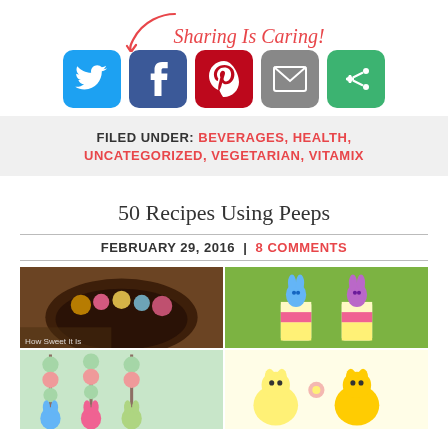[Figure (infographic): Sharing is Caring! social share buttons for Twitter, Facebook, Pinterest, Email, and a general share option with a red cursive arrow pointing to them.]
FILED UNDER: BEVERAGES, HEALTH, UNCATEGORIZED, VEGETARIAN, VITAMIX
50 Recipes Using Peeps
FEBRUARY 29, 2016 | 8 COMMENTS
[Figure (photo): Collage of four food photos featuring Peeps candy: top-left shows a bowl of chocolate dessert with Peeps, top-right shows layered parfait cups topped with blue and purple bunny Peeps on a green background, bottom-left shows fruit skewers with Peeps bunnies, bottom-right partially visible showing yellow Peeps flowers.]